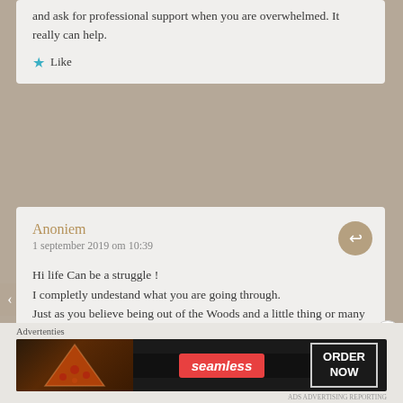and ask for professional support when you are overwhelmed. It really can help.
Like
Anoniem
1 september 2019 om 10:39
Hi life Can be a struggle ! I completly undestand what you are going through. Just as you believe being out of the Woods and a little thing or many Can in a split second bring you back fast as a rocket. I dont have your skills but i know the feeling to feel different and always wonder How other just stroll through life not reflecting and sleep Well No matter How much
Advertenties
[Figure (screenshot): Seamless food delivery advertisement banner with pizza image, seamless logo in red, and ORDER NOW button]